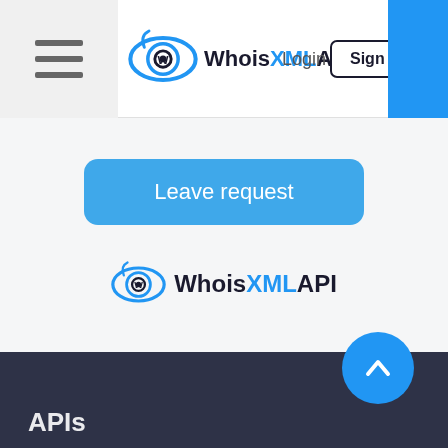WhoisXMLAPI — Navigation bar with Login, Sign Up buttons
[Figure (logo): WhoisXMLAPI logo with circular eye/W icon and text 'WhoisXMLAPI']
Leave request
[Figure (logo): WhoisXMLAPI logo with circular eye/W icon and text 'WhoisXMLAPI' in footer area]
APIs